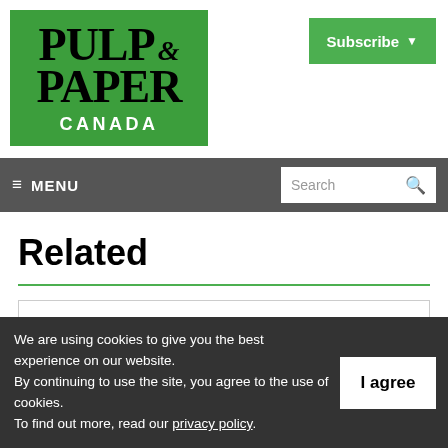[Figure (logo): Pulp & Paper Canada logo on green background]
[Figure (other): Subscribe button with dropdown arrow]
≡ MENU   Search
Related
Tolko Industries receives Energy
We are using cookies to give you the best experience on our website. By continuing to use the site, you agree to the use of cookies. To find out more, read our privacy policy.
I agree